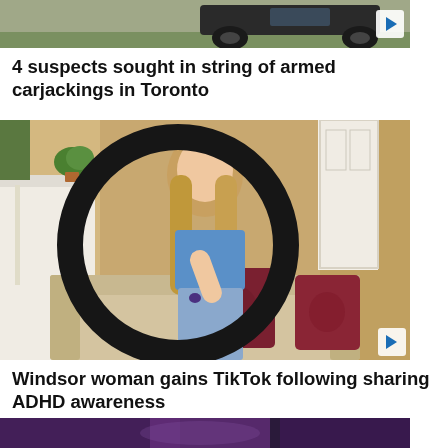[Figure (photo): Partial view of a vehicle/car, top portion of image, outdoor setting]
4 suspects sought in string of armed carjackings in Toronto
[Figure (photo): Young woman sitting on sofa holding small item toward camera, viewed through a ring light (large circular black frame). Indoor setting with fireplace mantel, plants, and door visible in background.]
Windsor woman gains TikTok following sharing ADHD awareness
[Figure (photo): Bottom strip of a third news image, partially visible, purple/dark tones]